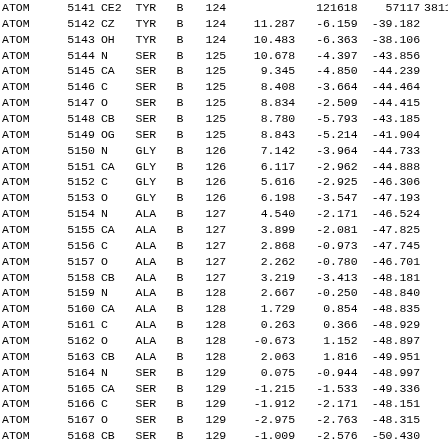| record | serial | name | res | chain | seq | x | y | z | ... |
| --- | --- | --- | --- | --- | --- | --- | --- | --- | --- |
| ATOM | 5141 | CE2 | TYR | B | 124 | ... | ... | ... | ... |
| ATOM | 5142 | CZ | TYR | B | 124 | 11.287 | -6.159 | -39.182 | ... |
| ATOM | 5143 | OH | TYR | B | 124 | 10.483 | -6.363 | -38.106 | ... |
| ATOM | 5144 | N | SER | B | 125 | 10.678 | -4.397 | -43.856 | ... |
| ATOM | 5145 | CA | SER | B | 125 | 9.345 | -4.850 | -44.239 | ... |
| ATOM | 5146 | C | SER | B | 125 | 8.408 | -3.664 | -44.464 | ... |
| ATOM | 5147 | O | SER | B | 125 | 8.834 | -2.509 | -44.415 | ... |
| ATOM | 5148 | CB | SER | B | 125 | 8.780 | -5.793 | -43.185 | ... |
| ATOM | 5149 | OG | SER | B | 125 | 8.843 | -5.214 | -41.904 | ... |
| ATOM | 5150 | N | GLY | B | 126 | 7.142 | -3.964 | -44.733 | ... |
| ATOM | 5151 | CA | GLY | B | 126 | 6.117 | -2.962 | -44.888 | ... |
| ATOM | 5152 | C | GLY | B | 126 | 5.616 | -2.925 | -46.306 | ... |
| ATOM | 5153 | O | GLY | B | 126 | 6.198 | -3.547 | -47.193 | ... |
| ATOM | 5154 | N | ALA | B | 127 | 4.540 | -2.171 | -46.524 | ... |
| ATOM | 5155 | CA | ALA | B | 127 | 3.899 | -2.081 | -47.825 | ... |
| ATOM | 5156 | C | ALA | B | 127 | 2.868 | -0.973 | -47.745 | ... |
| ATOM | 5157 | O | ALA | B | 127 | 2.262 | -0.780 | -46.701 | ... |
| ATOM | 5158 | CB | ALA | B | 127 | 3.219 | -3.413 | -48.181 | ... |
| ATOM | 5159 | N | ALA | B | 128 | 2.667 | -0.250 | -48.840 | ... |
| ATOM | 5160 | CA | ALA | B | 128 | 1.729 | 0.854 | -48.835 | ... |
| ATOM | 5161 | C | ALA | B | 128 | 0.263 | 0.366 | -48.929 | ... |
| ATOM | 5162 | O | ALA | B | 128 | -0.673 | 1.152 | -48.897 | ... |
| ATOM | 5163 | CB | ALA | B | 128 | 2.063 | 1.816 | -49.951 | ... |
| ATOM | 5164 | N | SER | B | 129 | 0.075 | -0.944 | -48.997 | ... |
| ATOM | 5165 | CA | SER | B | 129 | -1.215 | -1.533 | -49.336 | ... |
| ATOM | 5166 | C | SER | B | 129 | -1.912 | -2.171 | -48.151 | ... |
| ATOM | 5167 | O | SER | B | 129 | -2.975 | -2.763 | -48.315 | ... |
| ATOM | 5168 | CB | SER | B | 129 | -1.009 | -2.576 | -50.430 | ... |
| ATOM | 5169 | OG | SER | B | 129 | -0.166 | -3.623 | -49.994 | ... |
| ATOM | 5170 | N | LEU | B | 130 | -1.319 | -2.069 | -46.964 | ... |
| ATOM | 5171 | CA | LEU | B | 130 | 1.920 | -2.645 | -45.774 | ... |